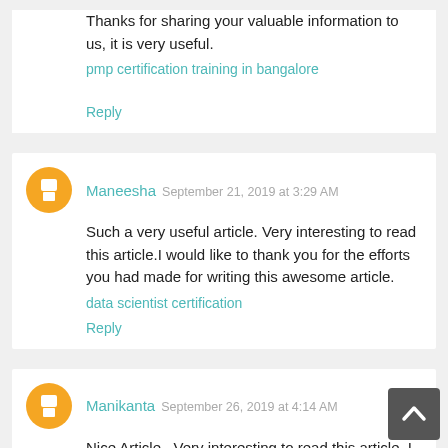Thanks for sharing your valuable information to us, it is very useful.
pmp certification training in bangalore
Reply
Maneesha  September 21, 2019 at 3:29 AM
Such a very useful article. Very interesting to read this article.I would like to thank you for the efforts you had made for writing this awesome article.
data scientist certification
Reply
Manikanta  September 26, 2019 at 4:14 AM
Nice Article...Very interesting to read this article. I have learn some new information.thanks for sharing.
Click here